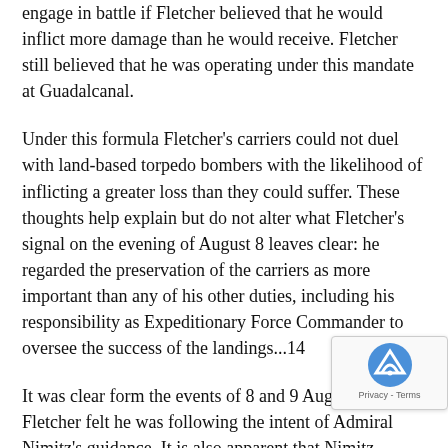engage in battle if Fletcher believed that he would inflict more damage than he would receive. Fletcher still believed that he was operating under this mandate at Guadalcanal.
Under this formula Fletcher's carriers could not duel with land-based torpedo bombers with the likelihood of inflicting a greater loss than they could suffer. These thoughts help explain but do not alter what Fletcher's signal on the evening of August 8 leaves clear: he regarded the preservation of the carriers as more important than any of his other duties, including his responsibility as Expeditionary Force Commander to oversee the success of the landings...14
It was clear form the events of 8 and 9 August 1942 that Fletcher felt he was following the intent of Admiral Nimitz's guidance. It is also apparent that Nimitz intended what Fletcher perceived. Nimitz's after-action review of the disaster noted eight contributing causes. None focused on the decision to disengage the carriers from support of the landings.